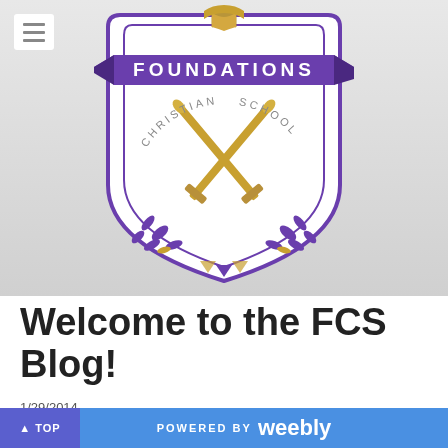[Figure (logo): Foundations Christian School crest/badge logo with purple shield, crossed gold swords, purple laurel branches, and 'FOUNDATIONS' on a purple banner ribbon at top. Text reads 'CHRISTIAN SCHOOL' around the lower arc.]
Welcome to the FCS Blog!
1/29/2014
▲ TOP   POWERED BY weebly